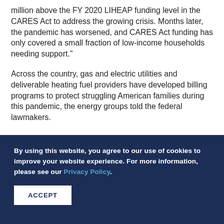million above the FY 2020 LIHEAP funding level in the CARES Act to address the growing crisis. Months later, the pandemic has worsened, and CARES Act funding has only covered a small fraction of low-income households needing support."
Across the country, gas and electric utilities and deliverable heating fuel providers have developed billing programs to protect struggling American families during this pandemic, the energy groups told the federal lawmakers.
By using this website, you agree to our use of cookies to improve your website experience. For more information, please see our Privacy Policy.
ACCEPT